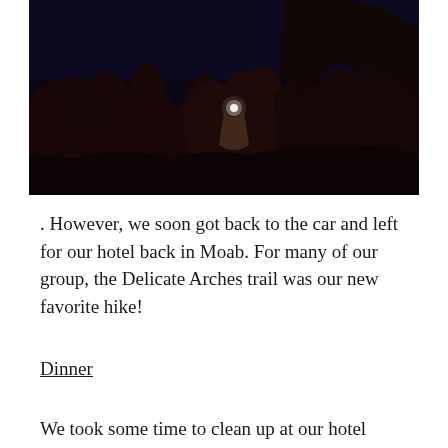[Figure (photo): A dark nighttime photo of rocky canyon formations (likely Arches National Park near Delicate Arch), with a small bright light visible between the rocks, against a deep blue-black sky.]
. However, we soon got back to the car and left for our hotel back in Moab. For many of our group, the Delicate Arches trail was our new favorite hike!
Dinner
We took some time to clean up at our hotel